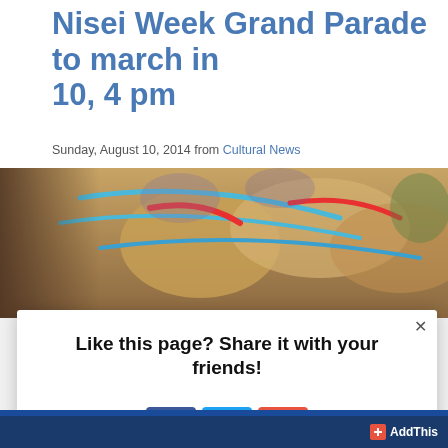Nisei Week Grand Parade to march in 10, 4 pm
Sunday, August 10, 2014 from Cultural News
[Figure (photo): Close-up photo of traditional Japanese sandals (geta/zori) with blue and red rope/cord decoration against a blurred outdoor background]
Like this page? Share it with your friends!
[Figure (infographic): Share modal overlay with Facebook, Twitter, and AddThis (+) social sharing buttons]
+ AddThis